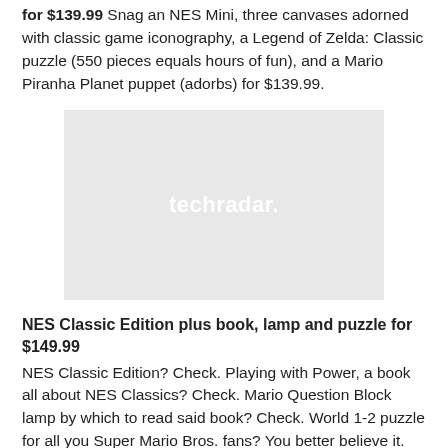for $139.99 Snag an NES Mini, three canvases adorned with classic game iconography, a Legend of Zelda: Classic puzzle (550 pieces equals hours of fun), and a Mario Piranha Planet puppet (adorbs) for $139.99.
[Figure (logo): Placeholder image with techradar. logo in white text on a light gray background]
NES Classic Edition plus book, lamp and puzzle for $149.99
NES Classic Edition? Check. Playing with Power, a book all about NES Classics? Check. Mario Question Block lamp by which to read said book? Check. World 1-2 puzzle for all you Super Mario Bros. fans? You better believe it.